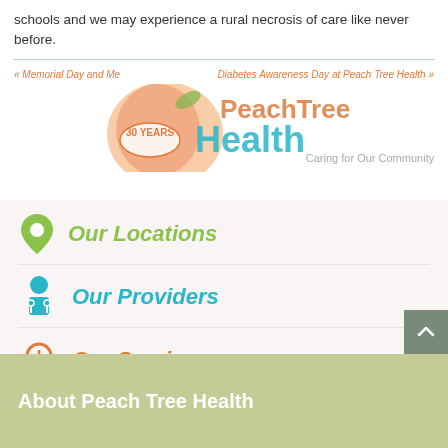schools and we may experience a rural necrosis of care like never before.
« Memorial Day and Me
Diabetes Awareness Day at Peach Tree Health »
[Figure (logo): Peach Tree Health logo with peach graphic, '30 YEARS' badge, teal and orange text reading 'PeachTree Health', and tagline 'Caring for Our Community']
Our Locations
Our Providers
Our Services
About Peach Tree Health